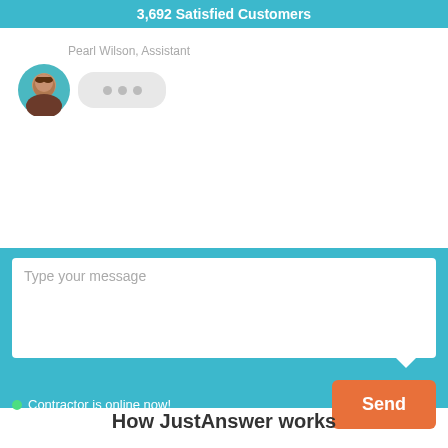3,692 Satisfied Customers
Pearl Wilson, Assistant
[Figure (illustration): Chat interface with avatar of Pearl Wilson and a typing indicator bubble with three dots]
Type your message
Contractor is online now!
Send
How JustAnswer works